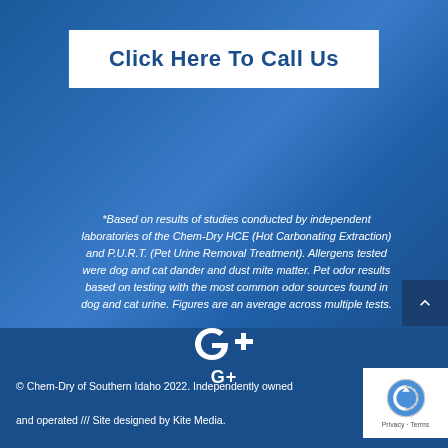Click Here To Call Us
*Based on results of studies conducted by independent laboratories of the Chem-Dry HCE (Hot Carbonating Extraction) and P.U.R.T. (Pet Urine Removal Treatment). Allergens tested were dog and cat dander and dust mite matter. Pet odor results based on testing with the most common odor sources found in dog and cat urine. Figures are an average across multiple tests.
[Figure (logo): Google Plus G+ icon in white]
© Chem-Dry of Southern Idaho 2022. Independently owned and operated /// Site designed by Kite Media.